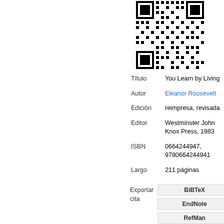[Figure (other): QR code image in black and white, positioned in the upper right area of the page]
| Título | You Learn by Living |
| Autor | Eleanor Roosevelt |
| Edición | reimpresa, revisada |
| Editor | Westminster John Knox Press, 1983 |
| ISBN | 0664244947, 9780664244941 |
| Largo | 211 páginas |
Exportar cita
BiBTeX
EndNote
RefMan